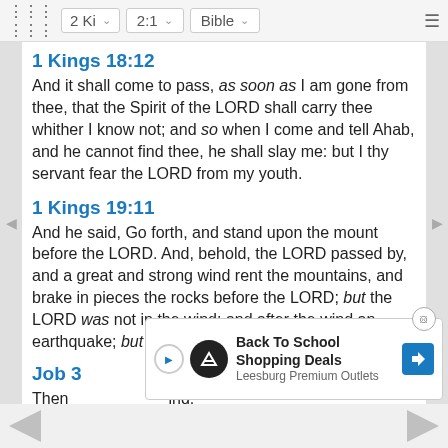2 Ki  2:1  Bible
1 Kings 18:12
And it shall come to pass, as soon as I am gone from thee, that the Spirit of the LORD shall carry thee whither I know not; and so when I come and tell Ahab, and he cannot find thee, he shall slay me: but I thy servant fear the LORD from my youth.
1 Kings 19:11
And he said, Go forth, and stand upon the mount before the LORD. And, behold, the LORD passed by, and a great and strong wind rent the mountains, and brake in pieces the rocks before the LORD; but the LORD was not in the wind: and after the wind an earthquake; but the LORD was not in the earthquake:
Job 3...
Then ... ind.